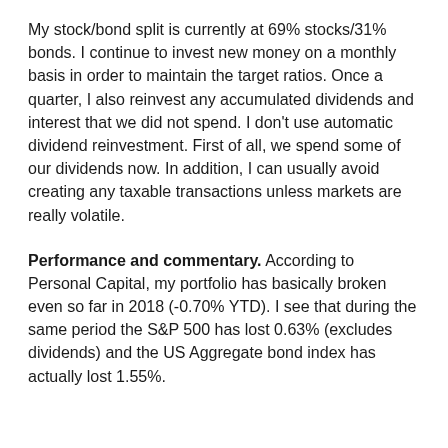My stock/bond split is currently at 69% stocks/31% bonds. I continue to invest new money on a monthly basis in order to maintain the target ratios. Once a quarter, I also reinvest any accumulated dividends and interest that we did not spend. I don't use automatic dividend reinvestment. First of all, we spend some of our dividends now. In addition, I can usually avoid creating any taxable transactions unless markets are really volatile.
Performance and commentary. According to Personal Capital, my portfolio has basically broken even so far in 2018 (-0.70% YTD). I see that during the same period the S&P 500 has lost 0.63% (excludes dividends) and the US Aggregate bond index has actually lost 1.55%.